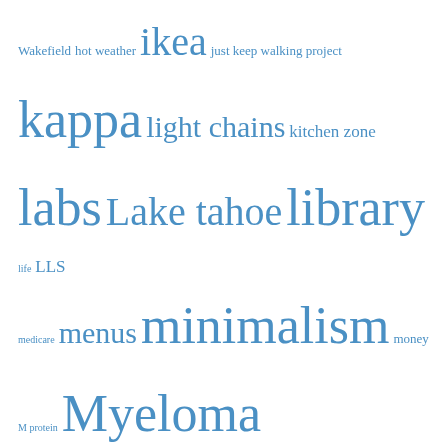[Figure (infographic): Tag cloud with blog tags in varying sizes and blue color: Wakefield, hot weather, ikea, just keep walking project, kappa, light chains, kitchen zone, labs, Lake tahoe, library, life, LLS, medicare, menus, minimalism, money, M protein, Myeloma, painting, Pizza, pizza night, prepper pantry, project cooking thru my cookbooks, rain, reading, Retirement, revlimid, Santa Barbara, simplicity, simplifying, snow, sourdough bread, Sunday night chit chat, swimming, tahoe, Tartine bread, taxes, Thanksgiving, trader joes, tree removal, Truckee, trump, velcade, Walking, winco, wind, YNAB, zometa]
Blog Stats
238,635 hits
Subscribe to Blog via Email